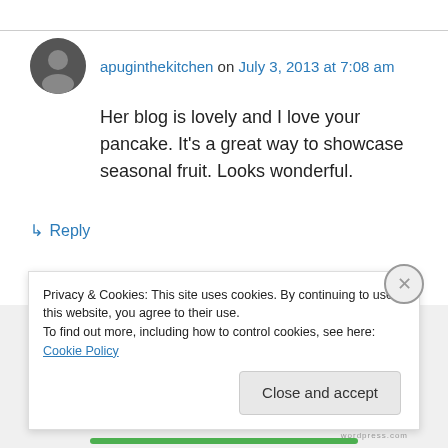apuginthekitchen on July 3, 2013 at 7:08 am
Her blog is lovely and I love your pancake. It's a great way to showcase seasonal fruit. Looks wonderful.
↳ Reply
tinywhitecottage on July 3, 2013 at 7:10 am
Privacy & Cookies: This site uses cookies. By continuing to use this website, you agree to their use.
To find out more, including how to control cookies, see here: Cookie Policy
Close and accept